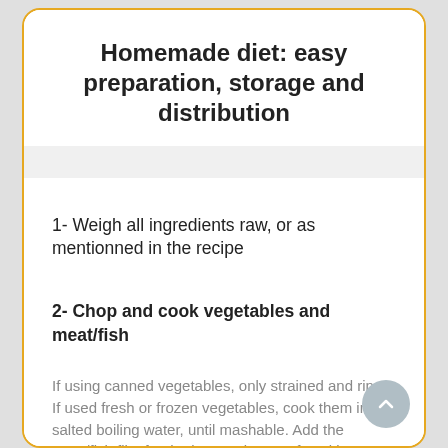Homemade diet: easy preparation, storage and distribution
1- Weigh all ingredients raw, or as mentionned in the recipe
2- Chop and cook vegetables and meat/fish
If using canned vegetables, only strained and rinse.
If used fresh or frozen vegetables, cook them in salted boiling water, until mashable. Add the meat/fish filet for the last 5 minutes of cooking.
3- Prepare the mixture